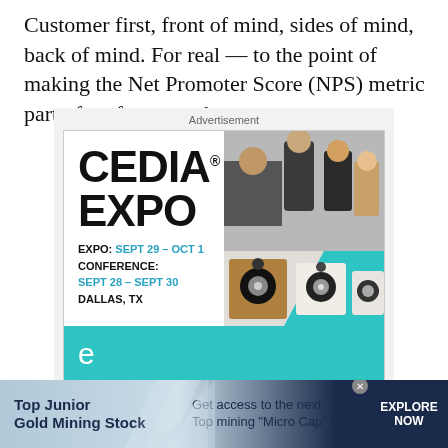Customer first, front of mind, sides of mind, back of mind. For real — to the point of making the Net Promoter Score (NPS) metric part of performance bonuses.
[Figure (screenshot): Advertisement banner for CEDIA EXPO. Expo: Sept 29 – Oct 1, Conference: Sept 28 – Sept 30, Dallas, TX. Shows people at expo and audio speakers.]
[Figure (infographic): Bottom banner advertisement: Top Junior Gold Mining Stock — Get access to the next Top mining 'Micro Cap' here! EXPLORE NOW]